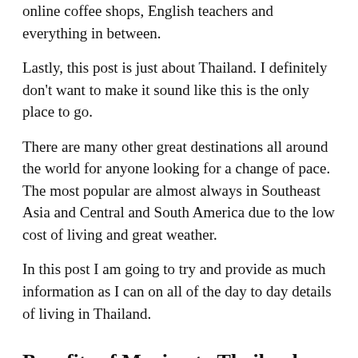online coffee shops, English teachers and everything in between.
Lastly, this post is just about Thailand. I definitely don't want to make it sound like this is the only place to go.
There are many other great destinations all around the world for anyone looking for a change of pace. The most popular are almost always in Southeast Asia and Central and South America due to the low cost of living and great weather.
In this post I am going to try and provide as much information as I can on all of the day to day details of living in Thailand.
Benefits of Moving to Thailand
The weather
The low cost of living
The food
The beaches